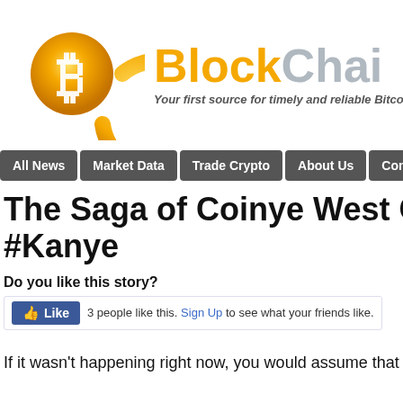[Figure (logo): BlockChain news site logo with Bitcoin coin graphic on left and 'BlockChain' text in gold and gray with tagline]
All News | Market Data | Trade Crypto | About Us | Contact Us
The Saga of Coinye West Coint... #Kanye
Do you like this story?
3 people like this. Sign Up to see what your friends like.
If it wasn't happening right now, you would assume that